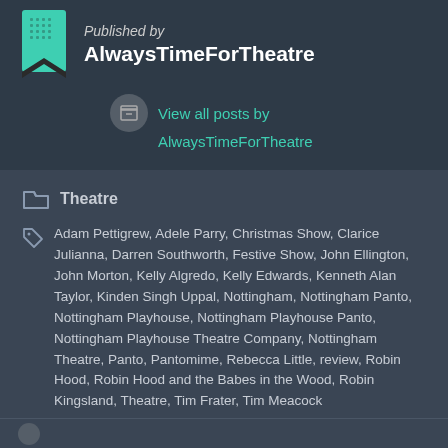Published by AlwaysTimeForTheatre
View all posts by AlwaysTimeForTheatre
Theatre
Adam Pettigrew, Adele Parry, Christmas Show, Clarice Julianna, Darren Southworth, Festive Show, John Ellington, John Morton, Kelly Algredo, Kelly Edwards, Kenneth Alan Taylor, Kinden Singh Uppal, Nottingham, Nottingham Panto, Nottingham Playhouse, Nottingham Playhouse Panto, Nottingham Playhouse Theatre Company, Nottingham Theatre, Panto, Pantomime, Rebecca Little, review, Robin Hood, Robin Hood and the Babes in the Wood, Robin Kingsland, Theatre, Tim Frater, Tim Meacock